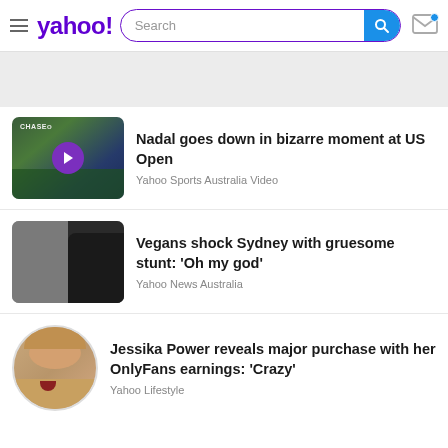yahoo! Search
[Figure (screenshot): Gray advertisement banner area]
Nadal goes down in bizarre moment at US Open — Yahoo Sports Australia Video
Vegans shock Sydney with gruesome stunt: 'Oh my god' — Yahoo News Australia
Jessika Power reveals major purchase with her OnlyFans earnings: 'Crazy' — Yahoo Lifestyle